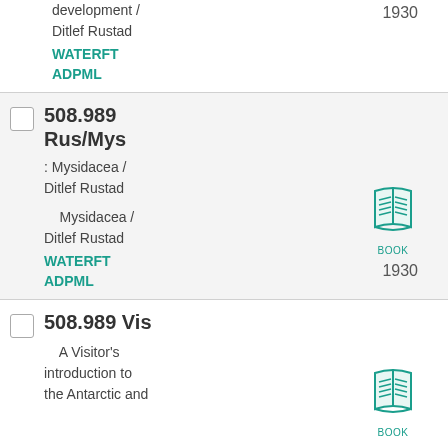development / Ditlef Rustad
WATERFT
ADPML
1930
508.989 Rus/Mys
: Mysidacea / Ditlef Rustad
Mysidacea / Ditlef Rustad
WATERFT
ADPML
1930
508.989 Vis
A Visitor's introduction to the Antarctic and